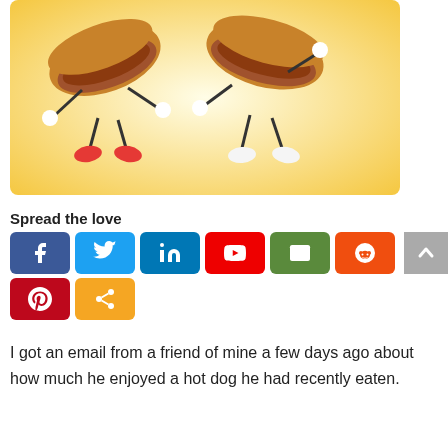[Figure (illustration): Two cartoon anthropomorphic hot dogs dancing together on a yellow gradient background. The left hot dog has green relish and wears red shoes; the right hot dog has yellow mustard and wears white shoes. They are holding hands and smiling.]
Spread the love
[Figure (infographic): Social media sharing buttons: Facebook (dark blue), Twitter (light blue), LinkedIn (blue), YouTube (red), Email (green), Reddit (orange-red), Pinterest (red), Share (orange)]
I got an email from a friend of mine a few days ago about how much he enjoyed a hot dog he had recently eaten.